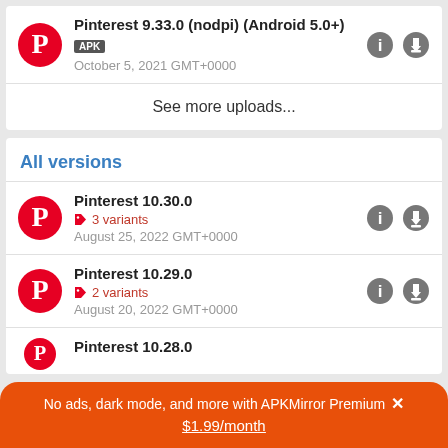Pinterest 9.33.0 (nodpi) (Android 5.0+)
APK
October 5, 2021 GMT+0000
See more uploads...
All versions
Pinterest 10.30.0
3 variants
August 25, 2022 GMT+0000
Pinterest 10.29.0
2 variants
August 20, 2022 GMT+0000
Pinterest 10.28.0
No ads, dark mode, and more with APKMirror Premium × $1.99/month